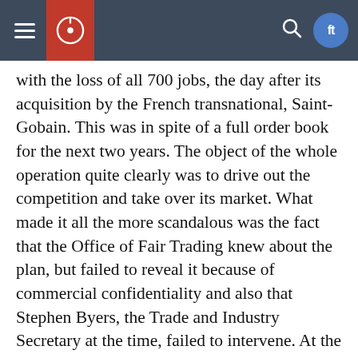[Navigation header with hamburger menu, logo, search icon, and social media badge]
with the loss of all 700 jobs, the day after its acquisition by the French transnational, Saint-Gobain. This was in spite of a full order book for the next two years. The object of the whole operation quite clearly was to drive out the competition and take over its market. What made it all the more scandalous was the fact that the Office of Fair Trading knew about the plan, but failed to reveal it because of commercial confidentiality and also that Stephen Byers, the Trade and Industry Secretary at the time, failed to intervene. At the time of writing, Saint-Gobain is trying to take over the British plasterboard manufacturer, BPB.M Workers at BPB be warned! Another scandal that has blown up, purely the result of our anti-union laws, is the sacking of 670 workers by loud hailer by Gate